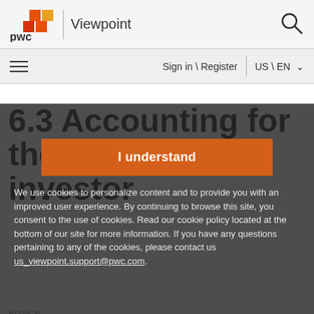PwC Viewpoint
Sign in \ Register | US \ EN
6.3 Accounting for the joint investor
I understand
We use cookies to personalize content and to provide you with an improved user experience. By continuing to browse this site, you consent to the use of cookies. Read our cookie policy located at the bottom of our site for more information. If you have any questions pertaining to any of the cookies, please contact us us_viewpoint.support@pwc.com.
Publication date:
US PwC Equity method of accounting guide 6.3